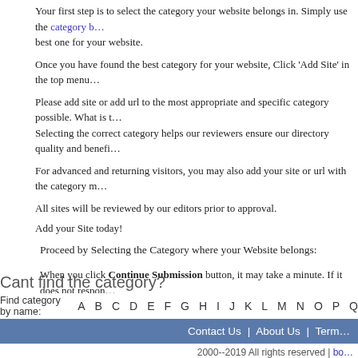Your first step is to select the category your website belongs in. Simply use the category b… best one for your website.
Once you have found the best category for your website, Click 'Add Site' in the top menu…
Please add site or add url to the most appropriate and specific category possible. What is t… Selecting the correct category helps our reviewers ensure our directory quality and benefi…
For advanced and returning visitors, you may also add your site or url with the category m…
All sites will be reviewed by our editors prior to approval.
Add your Site today!
Proceed by Selecting the Category where your Website belongs:
When you click Continue Submission button, it may take a minute. If it does not respon… If you experience difficulties submitting a website, please do not hesitate to email us via…
Cant find the category?
Find category by name: A B C D E F G H I J K L M N O P Q
Contact Us | About Us | Term
2000--2019 All rights reserved | bo…